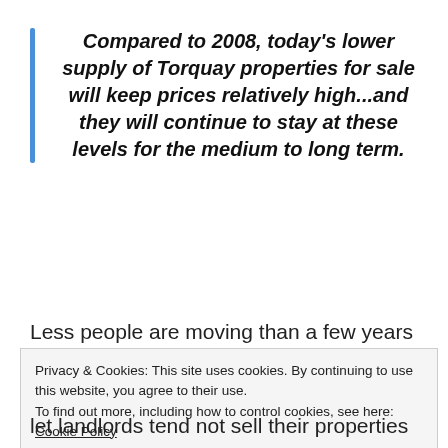Compared to 2008, today's lower supply of Torquay properties for sale will keep prices relatively high...and they will continue to stay at these levels for the medium to long term.
Less people are moving than a few years ago.
Privacy & Cookies: This site uses cookies. By continuing to use this website, you agree to their use.
To find out more, including how to control cookies, see here: Cookie Policy
Close and accept
let landlords tend not sell their properties as